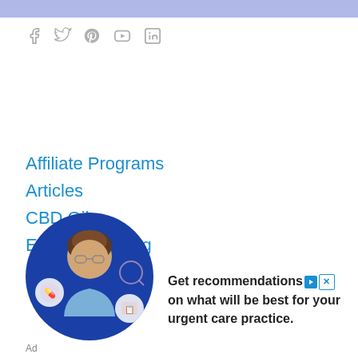[Figure (other): Social media icons: Facebook, Twitter, Pinterest, YouTube, LinkedIn in gray]
Affiliate Programs
Articles
CBD Oil
Email Marketing
How To
[Figure (photo): Advertisement showing a woman doctor/professional in a blue circle with floating icons, and text: Get recommendations on what will be best for your urgent care practice.]
Ad